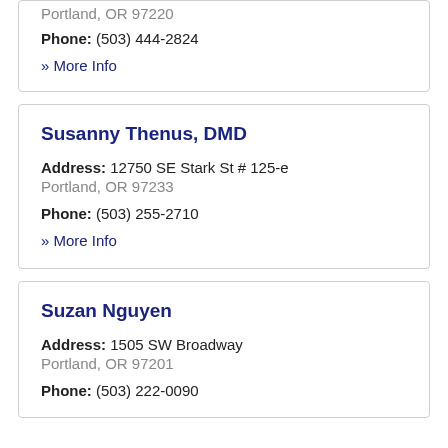Portland, OR 97220
Phone: (503) 444-2824
» More Info
Susanny Thenus, DMD
Address: 12750 SE Stark St # 125-e
Portland, OR 97233
Phone: (503) 255-2710
» More Info
Suzan Nguyen
Address: 1505 SW Broadway
Portland, OR 97201
Phone: (503) 222-0090